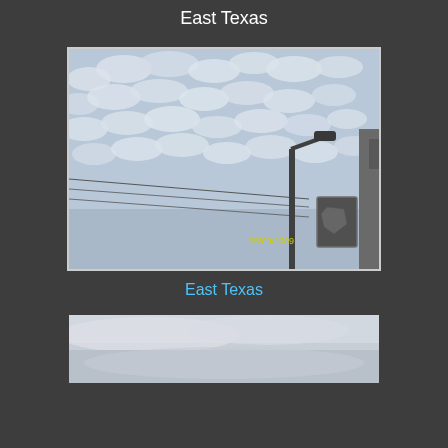East Texas
[Figure (photo): Outdoor photograph looking upward at a cloudy sky with altocumulus clouds, a street lamp pole, power lines, and road signs visible in the lower right. A timestamp reads 05/09/2009.]
East Texas
[Figure (photo): Partial outdoor photograph showing an overcast gray-white sky, cropped at bottom of page.]